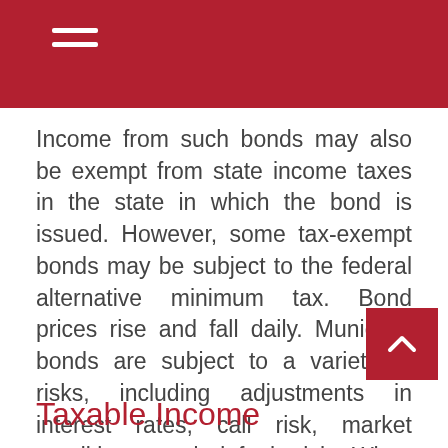Income from such bonds may also be exempt from state income taxes in the state in which the bond is issued. However, some tax-exempt bonds may be subject to the federal alternative minimum tax. Bond prices rise and fall daily. Municipal bonds are subject to a variety of risks, including adjustments in interest rates, call risk, market conditions, and default risk. When interest rates rise, bond prices generally will fall. Certain municipal bonds may be difficult to sell. A municipal bond issuer may be unable to make interest or principal payments, which may lead to the issuer defaulting on the bond. If this occurs, the municipal bond may have little or no value. If a bond is purchased at a premium, it may result in realized losses. It's possible that the interest on a municipal bond may be determined to be taxable after purchase.
Taxable Income